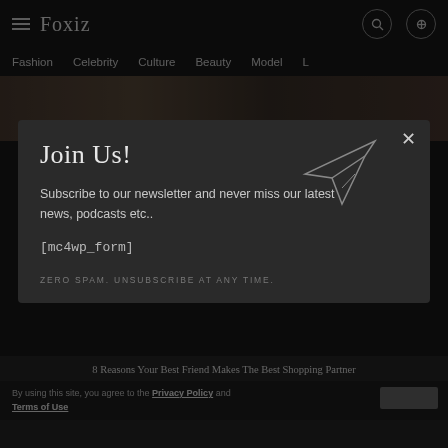Foxiz — Fashion | Celebrity | Culture | Beauty | Model
[Figure (screenshot): Dark website background with image strip showing fashion photos partially visible]
Join Us!
Subscribe to our newsletter and never miss our latest news, podcasts etc..
[mc4wp_form]
ZERO SPAM. UNSUBSCRIBE AT ANY TIME.
8 Reasons Your Best Friend Makes The Best Shopping Partner
By using this site, you agree to the Privacy Policy and Terms of Use